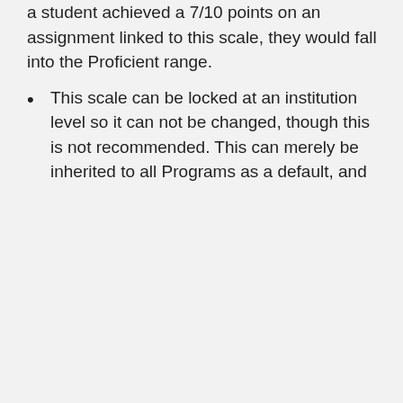a student achieved a 7/10 points on an assignment linked to this scale, they would fall into the Proficient range.
This scale can be locked at an institution level so it can not be changed, though this is not recommended. This can merely be inherited to all Programs as a default, and